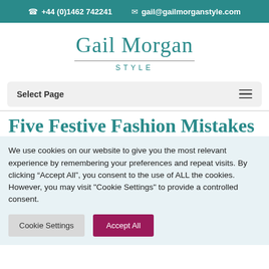+44 (0)1462 742241   gail@gailmorganstyle.com
Gail Morgan
STYLE
Select Page
Five Festive Fashion Mistakes
We use cookies on our website to give you the most relevant experience by remembering your preferences and repeat visits. By clicking "Accept All", you consent to the use of ALL the cookies. However, you may visit "Cookie Settings" to provide a controlled consent.
Cookie Settings   Accept All